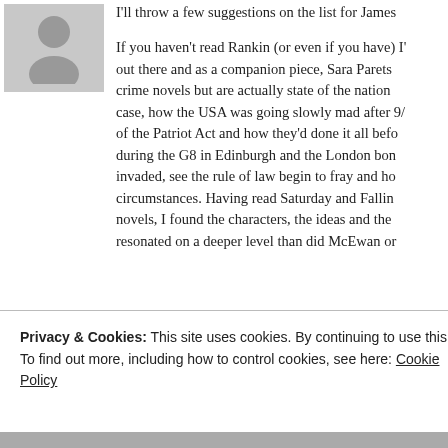[Figure (illustration): User avatar placeholder icon — grey square with a generic person silhouette]
I'll throw a few suggestions on the list for James

If you haven't read Rankin (or even if you have) I'
out there and as a companion piece, Sara Parets
crime novels but are actually state of the nation
case, how the USA was going slowly mad after 9/
of the Patriot Act and how they'd done it all befo
during the G8 in Edinburgh and the London bon
invaded, see the rule of law begin to fray and ho
circumstances. Having read Saturday and Fallin
novels, I found the characters, the ideas and the
resonated on a deeper level than did McEwan or

I'm currently reading (from 1–10) the Martin Be
Privacy & Cookies: This site uses cookies. By continuing to use this website, you agree to their use.
To find out more, including how to control cookies, see here: Cookie Policy
Close and accept